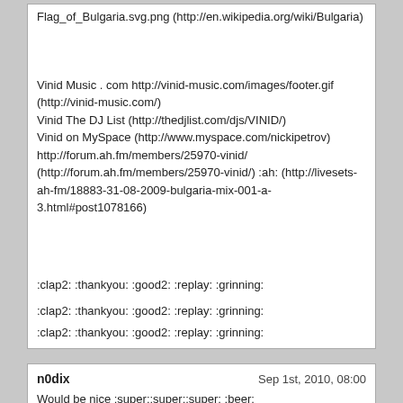Flag_of_Bulgaria.svg.png (http://en.wikipedia.org/wiki/Bulgaria)
Vinid Music . com http://vinid-music.com/images/footer.gif (http://vinid-music.com/)
Vinid The DJ List (http://thedjlist.com/djs/VINID/)
Vinid on MySpace (http://www.myspace.com/nickipetrov)
http://forum.ah.fm/members/25970-vinid/ (http://forum.ah.fm/members/25970-vinid/) :ah: (http://livesets-ah-fm/18883-31-08-2009-bulgaria-mix-001-a-3.html#post1078166)
:clap2: :thankyou: :good2: :replay: :grinning:
:clap2: :thankyou: :good2: :replay: :grinning:
:clap2: :thankyou: :good2: :replay: :grinning:
n0dix
Sep 1st, 2010, 08:00
Would be nice :super::super::super: :beer:
Arrived at work an hour ago, so no beers yet.
that is nice, :), better at night :good2: